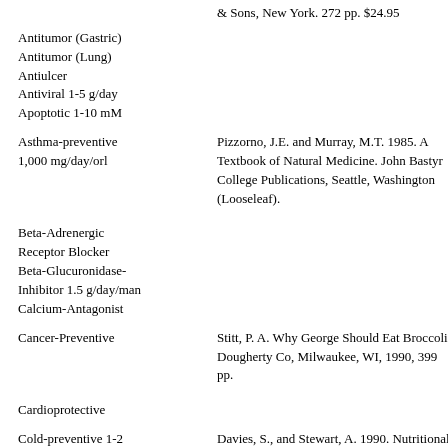& Sons, New York. 272 pp. $24.95
Antitumor (Gastric)
Antitumor (Lung)
Antiulcer
Antiviral 1-5 g/day
Apoptotic 1-10 mM
Asthma-preventive 1,000 mg/day/orl
Pizzorno, J.E. and Murray, M.T. 1985. A Textbook of Natural Medicine. John Bastyr College Publications, Seattle, Washington (Looseleaf).
Beta-Adrenergic Receptor Blocker
Beta-Glucuronidase-Inhibitor 1.5 g/day/man
Calcium-Antagonist
Cancer-Preventive
Stitt, P. A. Why George Should Eat Broccoli. Dougherty Co, Milwaukee, WI, 1990, 399 pp.
Cardioprotective
Cold-preventive 1-2 g/day
Davies, S., and Stewart, A. 1990. Nutritional Medicine. Avon Books, New York. 509pp.
Collagenase...